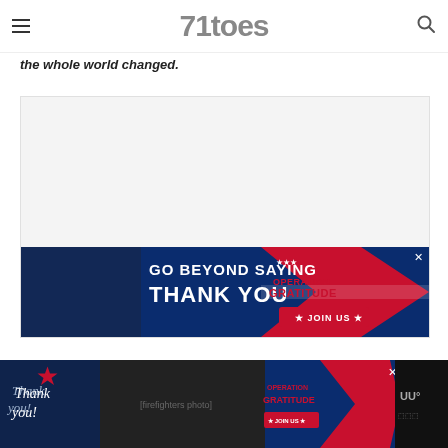71toes
the whole world changed.
[Figure (other): Large rectangular advertisement placeholder block with light gray background]
[Figure (other): Operation Gratitude banner ad: Go Beyond Saying Thank You - Join Us]
[Figure (other): Bottom sticky Operation Gratitude advertisement bar with dark background, showing firefighters/military personnel and text Thank you / Operation Gratitude / Join Us, with weather widget showing temperature on right]